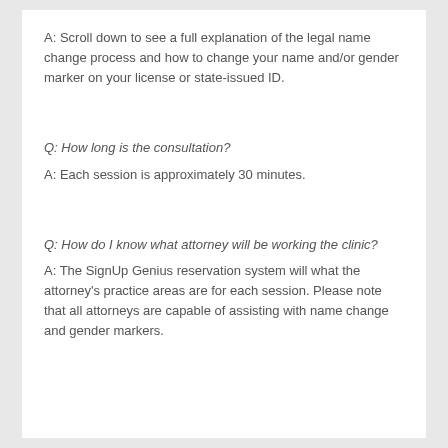A: Scroll down to see a full explanation of the legal name change process and how to change your name and/or gender marker on your license or state-issued ID.
Q: How long is the consultation?
A: Each session is approximately 30 minutes.
Q: How do I know what attorney will be working the clinic?
A: The SignUp Genius reservation system will what the attorney's practice areas are for each session. Please note that all attorneys are capable of assisting with name change and gender markers.